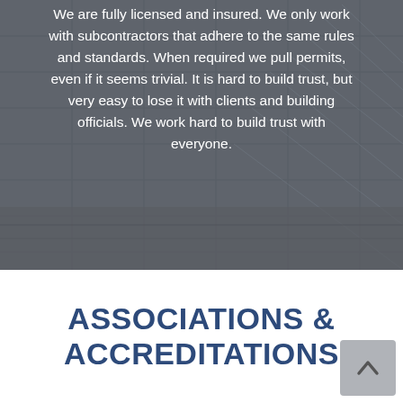[Figure (photo): Background photo of a tiled shower with a semi-transparent dark blue overlay and centered white text.]
We are fully licensed and insured. We only work with subcontractors that adhere to the same rules and standards. When required we pull permits, even if it seems trivial. It is hard to build trust, but very easy to lose it with clients and building officials. We work hard to build trust with everyone.
ASSOCIATIONS & ACCREDITATIONS